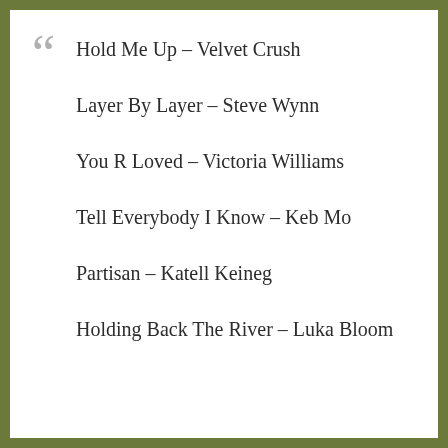Hold Me Up – Velvet Crush
Layer By Layer – Steve Wynn
You R Loved – Victoria Williams
Tell Everybody I Know – Keb Mo
Partisan – Katell Keineg
Holding Back The River – Luka Bloom